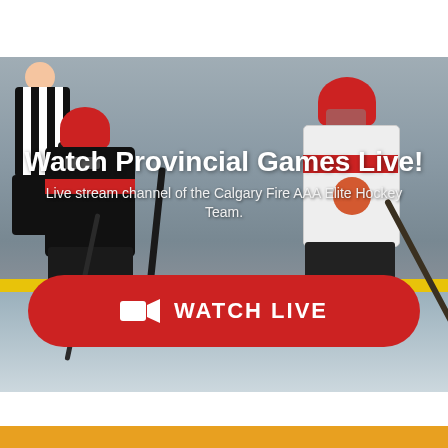[Figure (photo): Hockey game photo showing a face-off between players in a red/black jersey and white jersey, with a referee in black-and-white stripes. Yellow line visible on the ice.]
Watch Provincial Games Live!
Live stream channel of the Calgary Fire AAA Elite Hockey Team.
[Figure (other): Red rounded rectangle button with video camera icon and text WATCH LIVE]